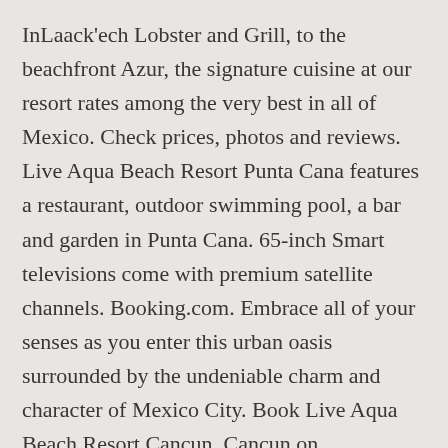InLaack'ech Lobster and Grill, to the beachfront Azur, the signature cuisine at our resort rates among the very best in all of Mexico. Check prices, photos and reviews. Live Aqua Beach Resort Punta Cana features a restaurant, outdoor swimming pool, a bar and garden in Punta Cana. 65-inch Smart televisions come with premium satellite channels. Booking.com. Embrace all of your senses as you enter this urban oasis surrounded by the undeniable charm and character of Mexico City. Book Live Aqua Beach Resort Cancun, Cancun on Tripadvisor: See 12,761 traveller reviews, 17,620 photos, and cheap rates for Live Aqua Beach Resort Cancun, ranked #3 of 244 hotels in Punta...